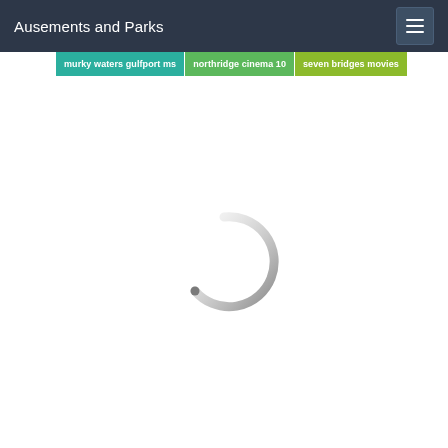Ausements and Parks
murky waters gulfport ms | northridge cinema 10 | seven bridges movies
[Figure (other): Loading spinner - a circular arc spinner in gray indicating content is loading]